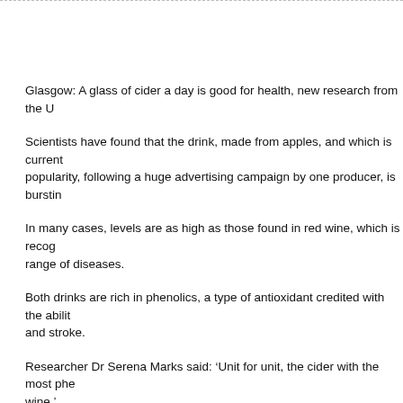Glasgow: A glass of cider a day is good for health, new research from the U...
Scientists have found that the drink, made from apples, and which is currently enjoying a surge in popularity, following a huge advertising campaign by one producer, is bursting...
In many cases, levels are as high as those found in red wine, which is recognised... range of diseases.
Both drinks are rich in phenolics, a type of antioxidant credited with the ability... and stroke.
Researcher Dr Serena Marks said: ‘Unit for unit, the cider with the most phe... wine.’
The variety of apple, how its grown, in what soil and the storage all affect the... antioxidants such as phenolics.